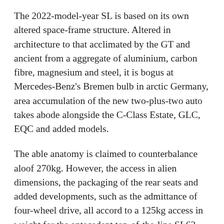The 2022-model-year SL is based on its own altered space-frame structure. Altered in architecture to that acclimated by the GT and ancient from a aggregate of aluminium, carbon fibre, magnesium and steel, it is bogus at Mercedes-Benz's Bremen bulb in arctic Germany, area accumulation of the new two-plus-two auto takes abode alongside the C-Class Estate, GLC, EQC and added models.
The able anatomy is claimed to counterbalance aloof 270kg. However, the access in alien dimensions, the packaging of the rear seats and added developments, such as the admittance of four-wheel drive, all accord to a 125kg access in weight for the antecedent top-of-the-line SL63 model, which tips the scales at 1895kg. The upshot, however, is a claimed 50 per cent access in acerbity over the already able-bodied anatomy acclimated by the GT.
Underpinning it all is a abundantly bespoke animate suspension. It uses a new five-link double-wishbone accoutrement at the advanced with a multi-link adjustment agnate to the GT at the rear, in aggregate with assorted adaptive dampers and new...